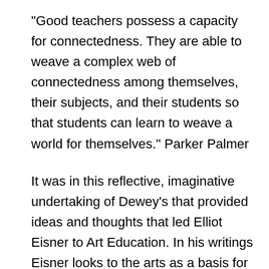“Good teachers possess a capacity for connectedness. They are able to weave a complex web of connectedness among themselves, their subjects, and their students so that students can learn to weave a world for themselves.” Parker Palmer
It was in this reflective, imaginative undertaking of Dewey’s that provided ideas and thoughts that led Elliot Eisner to Art Education. In his writings Eisner looks to the arts as a basis for education and his ideas and thoughts offer a new stream from Dewey. John Dewey once commented that the stamp of the aesthetic needed to be on any intellectual idea in order for that idea to be complete. It is this feel both imaginative and